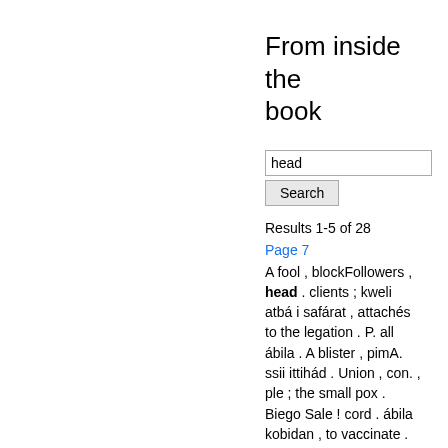From inside the book
head
Search
Results 1-5 of 28
Page 7
A fool , blockFollowers , head . clients ; kweli atbá i safárat , attachés to the legation . P. all ábila . A blister , pimA. ssii ittihád . Union , con. , ple ; the small pox . Biego Sale ! cord . ábila kobidan , to vaccinate .
Page 39
( In composi- of the head . ; . tion ) illuminating P. Os joil afsurda . Withered